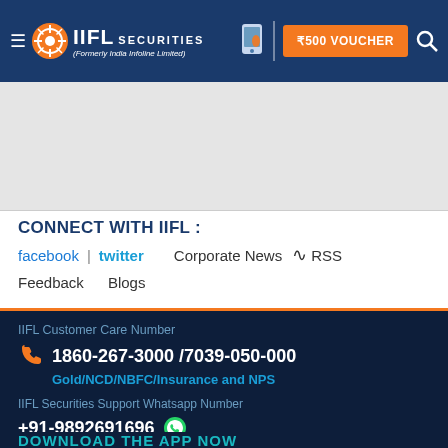IIFL SECURITIES (Formerly India Infoline Limited) | ₹500 VOUCHER
CONNECT WITH IIFL :
facebook | twitter   Corporate News  ⊇ RSS
Feedback   Blogs
IIFL Customer Care Number
1860-267-3000 /7039-050-000
Gold/NCD/NBFC/Insurance and NPS
IIFL Securities Support Whatsapp Number
+91-9892691696
DOWNLOAD THE APP NOW